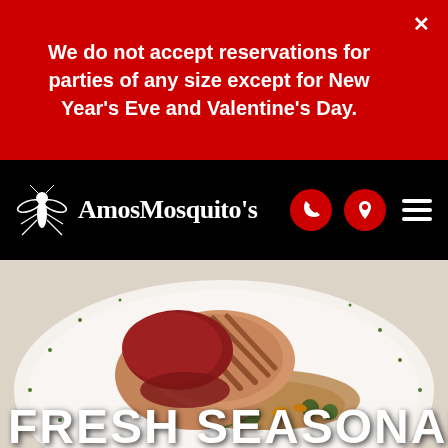We do not accept reservations for parties of any size except for New Year's Eve and Valentine's Day.
AmosMosquito's
[Figure (photo): Food photograph showing grilled pork chops with BBQ sauce served on a bed of farro with roasted brussels sprouts and vegetables on a white plate, scattered with chopped herbs]
FRESH SEASONAL